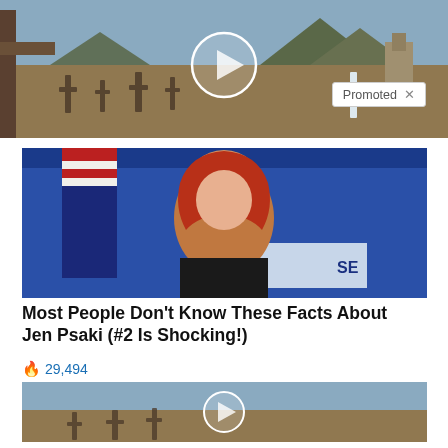[Figure (photo): Top banner showing a cemetery with crosses and mountains in background, with a play button circle overlay and a 'Promoted X' badge]
[Figure (photo): Photo of Jen Psaki, a woman with red hair, standing in front of a White House briefing room backdrop with American flag]
Most People Don't Know These Facts About Jen Psaki (#2 Is Shocking!)
🔥 29,494
[Figure (photo): Cemetery scene with crosses, cloudy sky and mountains, with a play button overlay]
Everyone Who Believes In God Should Watch This. It Will Blow Your Mind
🔥 2,862,814